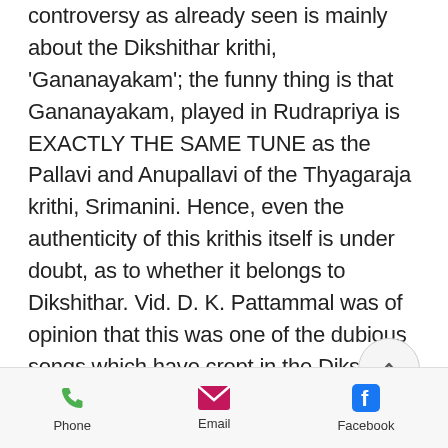controversy as already seen is mainly about the Dikshithar krithi, 'Gananayakam'; the funny thing is that Gananayakam, played in Rudrapriya is EXACTLY THE SAME TUNE as the Pallavi and Anupallavi of the Thyagaraja krithi, Srimanini. Hence, even the authenticity of this krithis itself is under doubt, as to whether it belongs to Dikshithar. Vid. D. K. Pattammal was of opinion that this was one of the dubious songs which have crept in the Dikshitar list.
Ragapravaham by D.Pattammal places Poornashadjam under melas 20
Phone   Email   Facebook